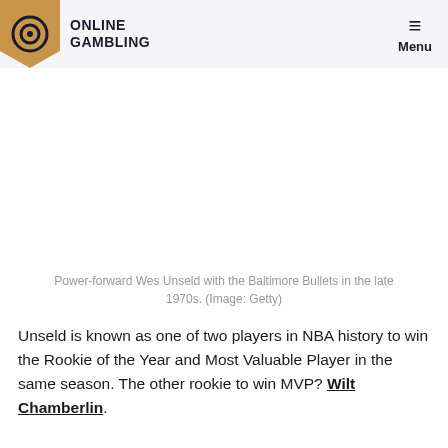ONLINE GAMBLING | Menu
[Figure (photo): Image placeholder area for photo of Power-forward Wes Unseld with the Baltimore Bullets in the late 1970s.]
Power-forward Wes Unseld with the Baltimore Bullets in the late 1970s. (Image: Getty)
Unseld is known as one of two players in NBA history to win the Rookie of the Year and Most Valuable Player in the same season. The other rookie to win MVP? Wilt Chamberlin.